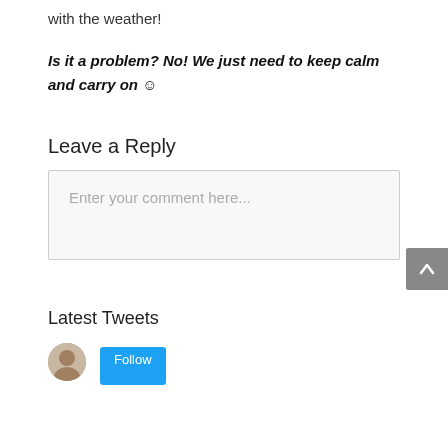with the weather!
Is it a problem? No! We just need to keep calm and carry on 😊
Leave a Reply
Enter your comment here...
Latest Tweets